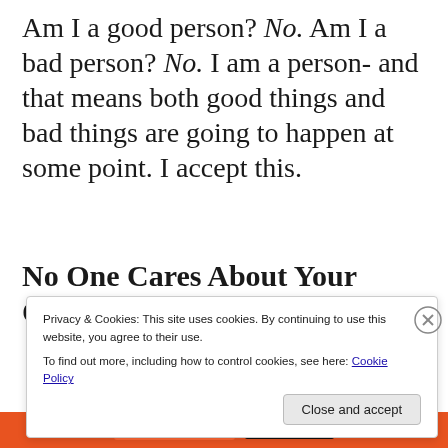Am I a good person? No. Am I a bad person? No. I am a person- and that means both good things and bad things are going to happen at some point. I accept this.
No One Cares About Your Opinion:
Privacy & Cookies: This site uses cookies. By continuing to use this website, you agree to their use. To find out more, including how to control cookies, see here: Cookie Policy
Close and accept